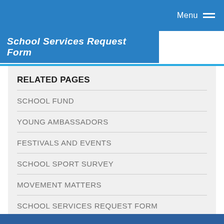Menu
School Services Request Form
RELATED PAGES
SCHOOL FUND
YOUNG AMBASSADORS
FESTIVALS AND EVENTS
SCHOOL SPORT SURVEY
MOVEMENT MATTERS
SCHOOL SERVICES REQUEST FORM